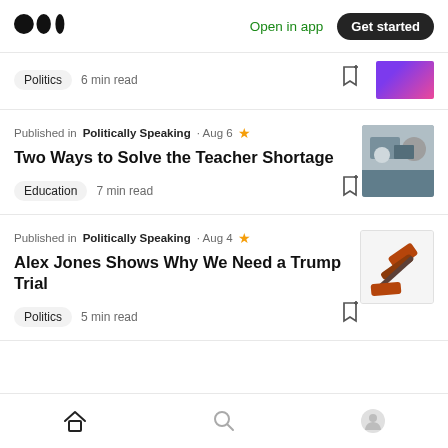Medium logo | Open in app | Get started
Politics · 6 min read
Published in Politically Speaking · Aug 6 ★
Two Ways to Solve the Teacher Shortage
Education · 7 min read
Published in Politically Speaking · Aug 4 ★
Alex Jones Shows Why We Need a Trump Trial
Politics · 5 min read
Home | Search | Profile